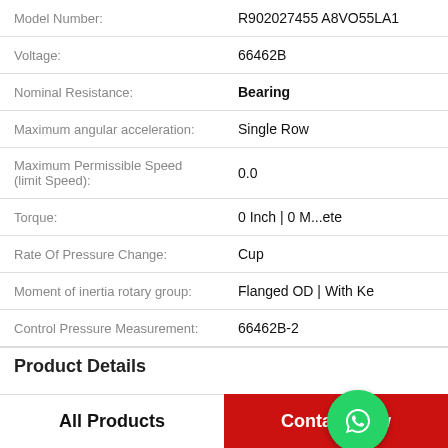| Attribute | Value |
| --- | --- |
| Model Number: | R902027455 A8VO55LA1 |
| Voltage: | 66462B |
| Nominal Resistance: | Bearing |
| Maximum angular acceleration: | Single Row |
| Maximum Permissible Speed (limit Speed): | 0.0 |
| Torque: | 0 Inch | 0 M...ete |
| Rate Of Pressure Change: | Cup |
| Moment of inertia rotary group: | Flanged OD | With Ke |
| Control Pressure Measurement: | 66462B-2 |
Product Details
All Products
Contact Now